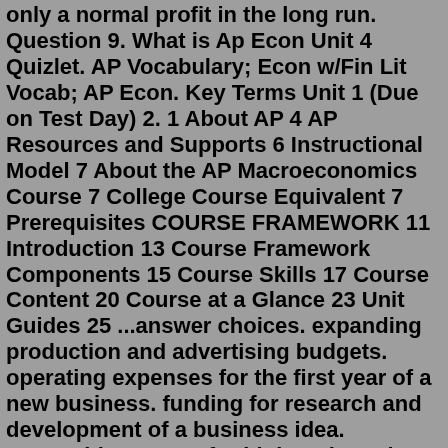only a normal profit in the long run. Question 9. What is Ap Econ Unit 4 Quizlet. AP Vocabulary; Econ w/Fin Lit Vocab; AP Econ. Key Terms Unit 1 (Due on Test Day) 2. 1 About AP 4 AP Resources and Supports 6 Instructional Model 7 About the AP Macroeconomics Course 7 College Course Equivalent 7 Prerequisites COURSE FRAMEWORK 11 Introduction 13 Course Framework Components 15 Course Skills 17 Course Content 20 Course at a Glance 23 Unit Guides 25 ...answer choices. expanding production and advertising budgets. operating expenses for the first year of a new business. funding for research and development of a business idea. competitive wages for high-tech workers. Question 10. 30 seconds. Q. 2. Workers wait to be rehired and are reluctant to take lower wage jobs 3. Delays magnify recession and increase unemployment Time Bunching: People bunch their activities at common points in time, but it can cause shocks to spread through the economy and through time. 1. Economic systems. Units 1-2: